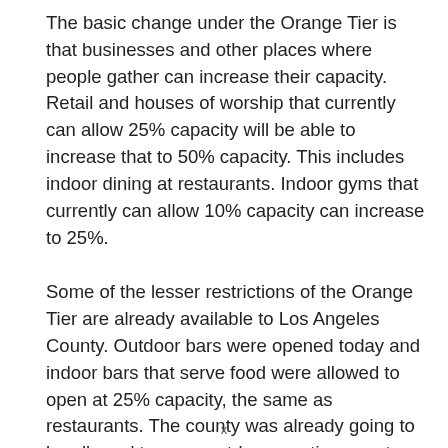The basic change under the Orange Tier is that businesses and other places where people gather can increase their capacity. Retail and houses of worship that currently can allow 25% capacity will be able to increase that to 50% capacity. This includes indoor dining at restaurants. Indoor gyms that currently can allow 10% capacity can increase to 25%.
Some of the lesser restrictions of the Orange Tier are already available to Los Angeles County. Outdoor bars were opened today and indoor bars that serve food were allowed to open at 25% capacity, the same as restaurants. The county was already going to be allowed to open outdoor sporting events and concerts at reduced capacity even if in the Purple Tier. Capacity at such events will be increased if the county moves into the Orange Tier.
x